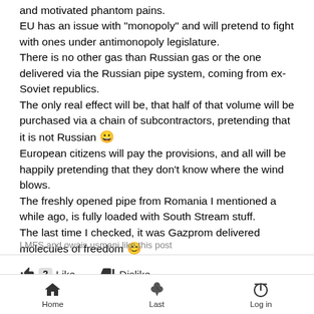and motivated phantom pains.
EU has an issue with "monopoly" and will pretend to fight with ones under antimonopoly legislature.
There is no other gas than Russian gas or the one delivered via the Russian pipe system, coming from ex-Soviet republics.
The only real effect will be, that half of that volume will be purchased via a chain of subcontractors, pretending that it is not Russian 😀
European citizens will pay the provisions, and all will be happily pretending that they don't know where the wind blows.
The freshly opened pipe from Romania I mentioned a while ago, is fully loaded with South Stream stuff.
The last time I checked, it was Gazprom delivered molecules of freedom 😊
LMFS and owais.usmani like this post
2  Like    Dislike